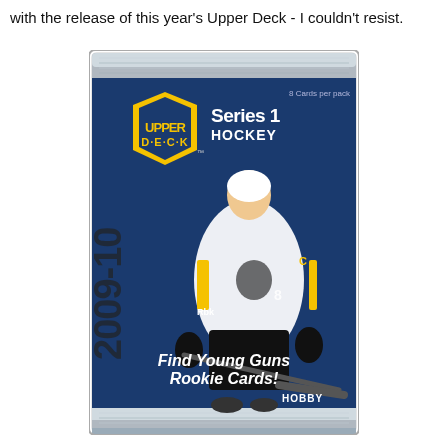with the release of this year's Upper Deck - I couldn't resist.
[Figure (photo): 2009-10 Upper Deck Series 1 Hockey hobby pack featuring a Pittsburgh Penguins player (Sidney Crosby) skating with a hockey stick. The pack shows the Upper Deck logo, 'Series 1 HOCKEY' text, '2009-10' vertically on the left side, 'Find Young Guns Rookie Cards!' and 'HOBBY' at the bottom.]